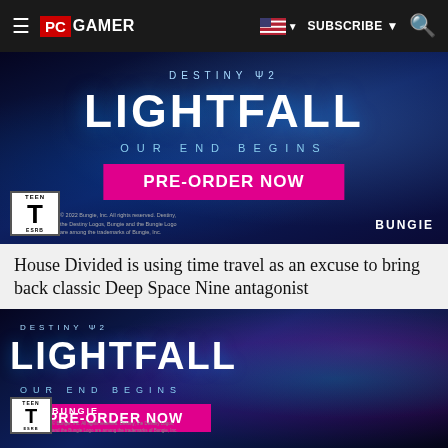PC GAMER | SUBSCRIBE | Search
[Figure (screenshot): Destiny 2 Lightfall advertisement banner — top version with 'OUR END BEGINS' and 'PRE-ORDER NOW' pink button, ESRB Teen rating, Bungie copyright, dark blue cyberpunk background]
House Divided is using time travel as an excuse to bring back classic Deep Space Nine antagonist
[Figure (screenshot): Destiny 2 Lightfall advertisement banner — bottom version showing armored character with weapon, 'OUR END BEGINS' and 'PRE-ORDER NOW' pink button, ESRB Teen rating, Bungie logo, dark cyberpunk background with neon accents]